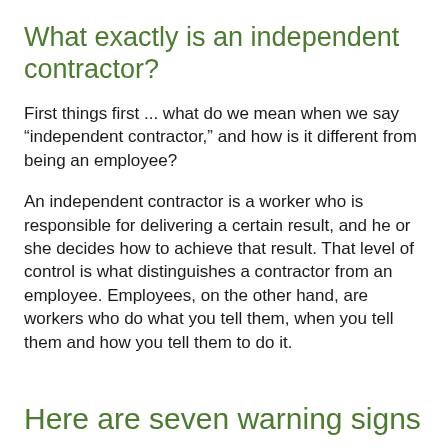What exactly is an independent contractor?
First things first ... what do we mean when we say “independent contractor,” and how is it different from being an employee?
An independent contractor is a worker who is responsible for delivering a certain result, and he or she decides how to achieve that result. That level of control is what distinguishes a contractor from an employee. Employees, on the other hand, are workers who do what you tell them, when you tell them and how you tell them to do it.
Here are seven warning signs